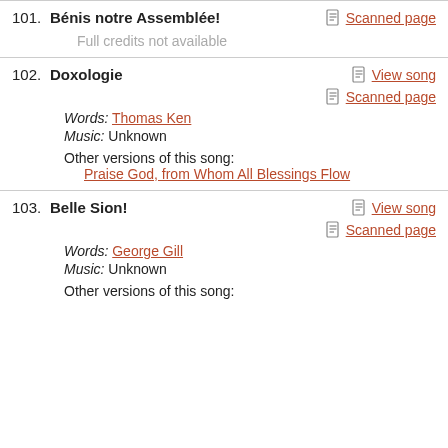101. Bénis notre Assemblée! — Full credits not available — Scanned page
102. Doxologie — Words: Thomas Ken — Music: Unknown — Other versions of this song: Praise God, from Whom All Blessings Flow — View song — Scanned page
103. Belle Sion! — Words: George Gill — Music: Unknown — Other versions of this song: — View song — Scanned page